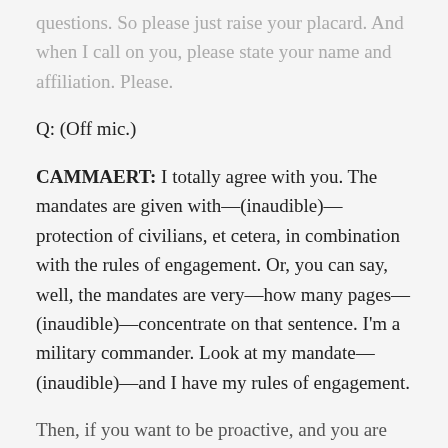questions. So please just raise your placard. And when I call on you, please state your name and affiliation. Please.
Q: (Off mic.)
CAMMAERT: I totally agree with you. The mandates are given with—(inaudible)—protection of civilians, et cetera, in combination with the rules of engagement. Or, you can say, well, the mandates are very—how many pages—(inaudible)—concentrate on that sentence. I'm a military commander. Look at my mandate—(inaudible)—and I have my rules of engagement.
Then, if you want to be proactive, and you are faced